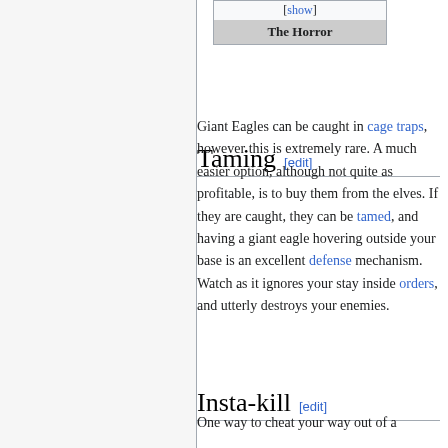[Figure (other): Wikipedia infobox fragment showing [show] toggle and 'The Horror' title row]
Taming [edit]
Giant Eagles can be caught in cage traps, however this is extremely rare. A much easier option, although not quite as profitable, is to buy them from the elves. If they are caught, they can be tamed, and having a giant eagle hovering outside your base is an excellent defense mechanism. Watch as it ignores your stay inside orders, and utterly destroys your enemies.
Insta-kill [edit]
One way to cheat your way out of a